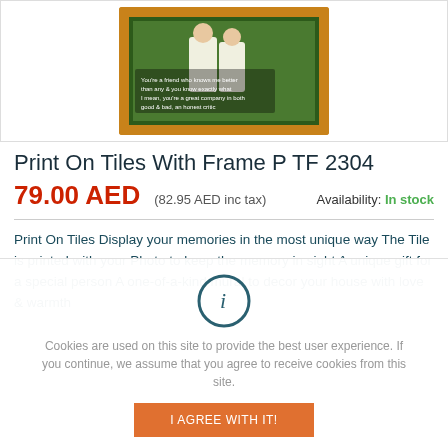[Figure (photo): Product photo of a framed tile featuring two children in martial arts uniforms with a quote text overlay, in a brown wooden frame]
Print On Tiles With Frame P TF 2304
79.00 AED   (82.95 AED inc tax)   Availability: In stock
Print On Tiles Display your memories in the most unique way The Tile is printed with your Photo to keep the memory in sight A unique gift for a special person A one-of-a-kind mural to decor your house with love & warmth
Cookies are used on this site to provide the best user experience. If you continue, we assume that you agree to receive cookies from this site.
I AGREE WITH IT!